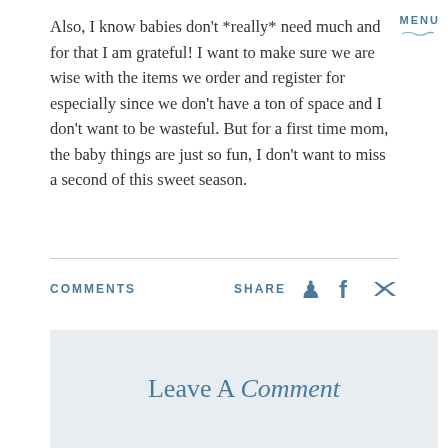MENU
Also, I know babies don't *really* need much and for that I am grateful! I want to make sure we are wise with the items we order and register for especially since we don't have a ton of space and I don't want to be wasteful. But for a first time mom, the baby things are just so fun, I don't want to miss a second of this sweet season.
COMMENTS
SHARE
Leave A Comment